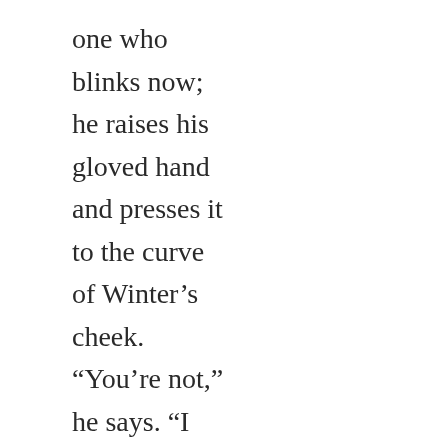one who blinks now; he raises his gloved hand and presses it to the curve of Winter’s cheek. “You’re not,” he says. “I guess I should have been paying better attention.”